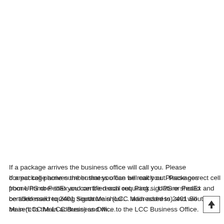If a package arrives the business office will call you. Please correct cell phone number that you can be reach out. Packages from UPS or FedEx and certified mail requiring signature should be addressed to 2401 South Main (LCC Main address) and will be sent to the LCC Business Office.